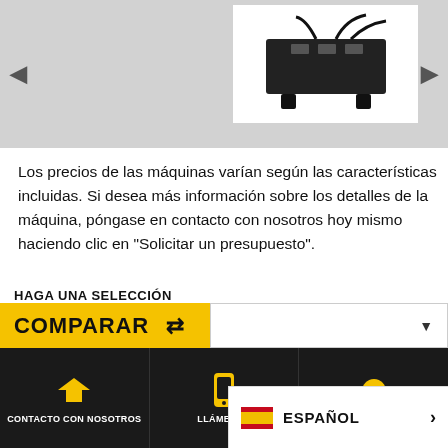[Figure (photo): Product image carousel showing a machine/equipment photo on a gray background with left and right navigation arrows]
Los precios de las máquinas varían según las características incluidas. Si desea más información sobre los detalles de la máquina, póngase en contacto con nosotros hoy mismo haciendo clic en "Solicitar un presupuesto".
HAGA UNA SELECCIÓN
COMPARAR ⇄
[Figure (screenshot): Website footer with dark background showing navigation icons: CONTACTO CON NOSOTROS (paper plane icon), LLÁMENOS (phone icon), and a language selector showing ESPAÑOL with Spanish flag]